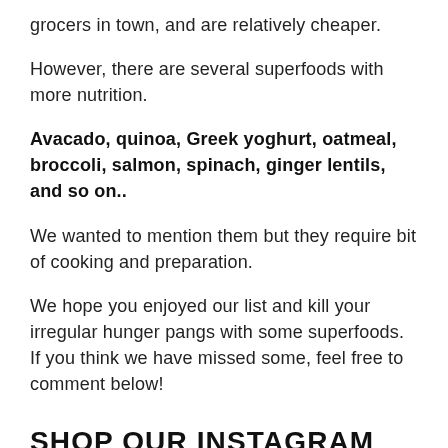grocers in town, and are relatively cheaper.
However, there are several superfoods with more nutrition.
Avacado, quinoa, Greek yoghurt, oatmeal, broccoli, salmon, spinach, ginger lentils, and so on..
We wanted to mention them but they require bit of cooking and preparation.
We hope you enjoyed our list and kill your irregular hunger pangs with some superfoods. If you think we have missed some, feel free to comment below!
SHOP OUR INSTAGRAM